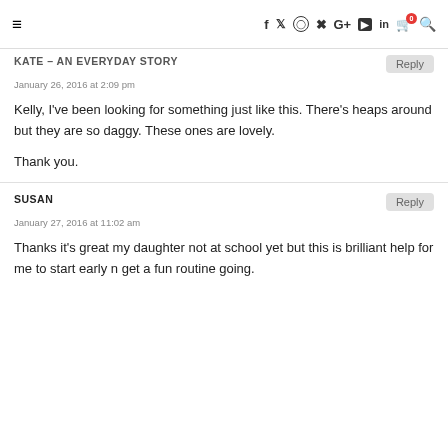Navigation bar with hamburger menu and social icons (f, Twitter, Instagram, Pinterest, G+, YouTube, in, cart, search)
KATE – AN EVERYDAY STORY
January 26, 2016 at 2:09 pm
Kelly, I've been looking for something just like this. There's heaps around but they are so daggy. These ones are lovely.

Thank you.
SUSAN
January 27, 2016 at 11:02 am
Thanks it's great my daughter not at school yet but this is brilliant help for me to start early n get a fun routine going.